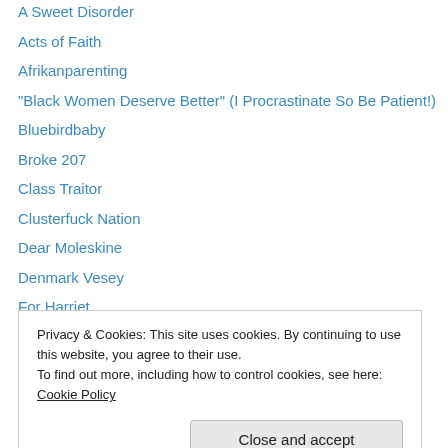A Sweet Disorder
Acts of Faith
Afrikanparenting
“Black Women Deserve Better” (I Procrastinate So Be Patient!)
Bluebirdbaby
Broke 207
Class Traitor
Clusterfuck Nation
Dear Moleskine
Denmark Vesey
For Harriet
Genma Speaks
Granny Standing for Truth
Privacy & Cookies: This site uses cookies. By continuing to use this website, you agree to their use.
To find out more, including how to control cookies, see here: Cookie Policy
Close and accept
Mudflats